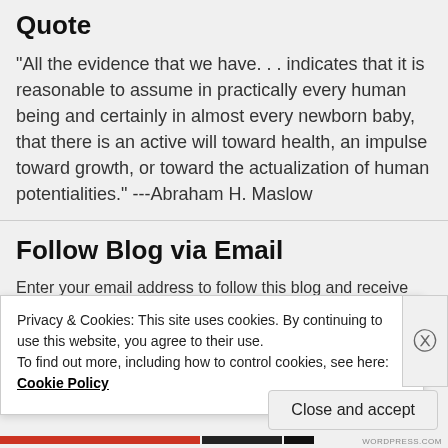Quote
"All the evidence that we have. . . indicates that it is reasonable to assume in practically every human being and certainly in almost every newborn baby, that there is an active will toward health, an impulse toward growth, or toward the actualization of human potentialities." ---Abraham H. Maslow
Follow Blog via Email
Enter your email address to follow this blog and receive
Privacy & Cookies: This site uses cookies. By continuing to use this website, you agree to their use.
To find out more, including how to control cookies, see here: Cookie Policy
Close and accept